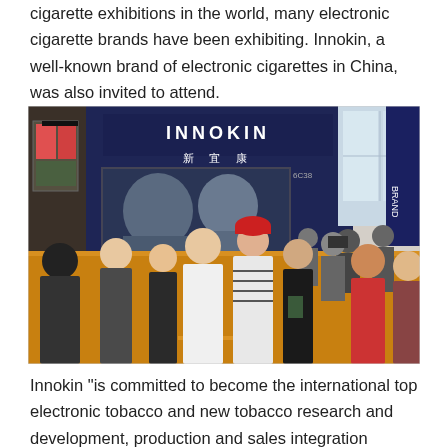cigarette exhibitions in the world, many electronic cigarette brands have been exhibiting. Innokin, a well-known brand of electronic cigarettes in China, was also invited to attend.
[Figure (photo): Photograph of the Innokin (新宜康) exhibition booth at a trade show. The booth has a large dark blue backdrop with the INNOKIN logo and Chinese characters. A large LED screen shows two men. A crowd of visitors stands in front of the booth on an orange floor. Booth number 6C38 is visible.]
Innokin "is committed to become the international top electronic tobacco and new tobacco research and development, production and sales integration